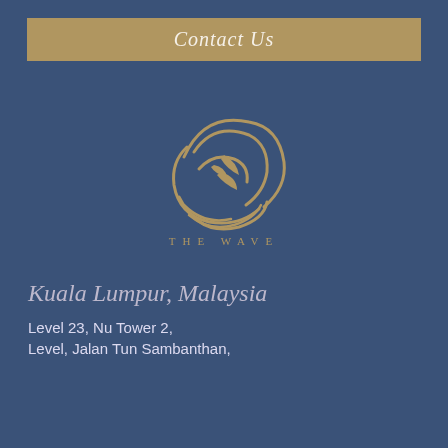Contact Us
[Figure (logo): The Wave Clinic logo: golden circular swirl with leaf/wave motifs on dark blue background, with text THE WAVE CLINIC below]
Kuala Lumpur, Malaysia
Level 23, Nu Tower 2,
Level, Jalan Tun Sambanthan